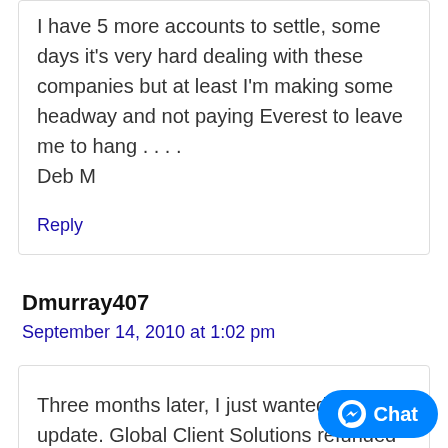I have 5 more accounts to settle, some days it's very hard dealing with these companies but at least I'm making some headway and not paying Everest to leave me to hang . . . .
Deb M
Reply
Dmurray407
September 14, 2010 at 1:02 pm
Three months later, I just wanted to p... update. Global Client Solutions refunded